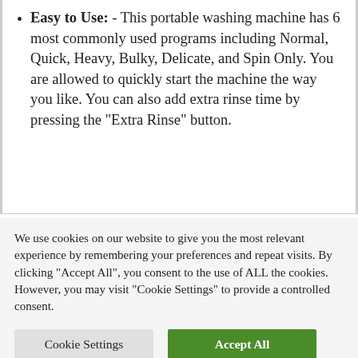Easy to Use: - This portable washing machine has 6 most commonly used programs including Normal, Quick, Heavy, Bulky, Delicate, and Spin Only. You are allowed to quickly start the machine the way you like. You can also add extra rinse time by pressing the “Extra Rinse” button.
We use cookies on our website to give you the most relevant experience by remembering your preferences and repeat visits. By clicking “Accept All”, you consent to the use of ALL the cookies. However, you may visit "Cookie Settings" to provide a controlled consent.